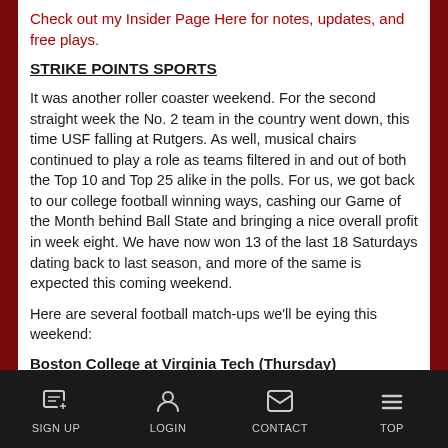Check out my Insider Page Here for notes, updates, and free plays.
STRIKE POINTS SPORTS
It was another roller coaster weekend. For the second straight week the No. 2 team in the country went down, this time USF falling at Rutgers. As well, musical chairs continued to play a role as teams filtered in and out of both the Top 10 and Top 25 alike in the polls. For us, we got back to our college football winning ways, cashing our Game of the Month behind Ball State and bringing a nice overall profit in week eight. We have now won 13 of the last 18 Saturdays dating back to last season, and more of the same is expected this coming weekend.
Here are several football match-ups we'll be eying this weekend:
Boston College at Virginia Tech (Thursday)
SIGN UP  LOGIN  CONTACT  TOP